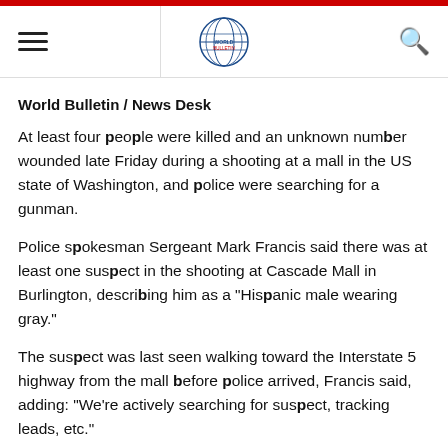World Bulletin [logo] [hamburger menu] [search]
World Bulletin / News Desk
At least four people were killed and an unknown number wounded late Friday during a shooting at a mall in the US state of Washington, and police were searching for a gunman.
Police spokesman Sergeant Mark Francis said there was at least one suspect in the shooting at Cascade Mall in Burlington, describing him as a "Hispanic male wearing gray."
The suspect was last seen walking toward the Interstate 5 highway from the mall before police arrived, Francis said, adding: "We're actively searching for suspect, tracking leads, etc."